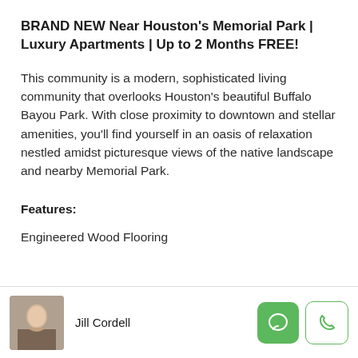BRAND NEW Near Houston's Memorial Park | Luxury Apartments | Up to 2 Months FREE!
This community is a modern, sophisticated living community that overlooks Houston's beautiful Buffalo Bayou Park. With close proximity to downtown and stellar amenities, you'll find yourself in an oasis of relaxation nestled amidst picturesque views of the native landscape and nearby Memorial Park.
Features:
Engineered Wood Flooring
Jill Cordell